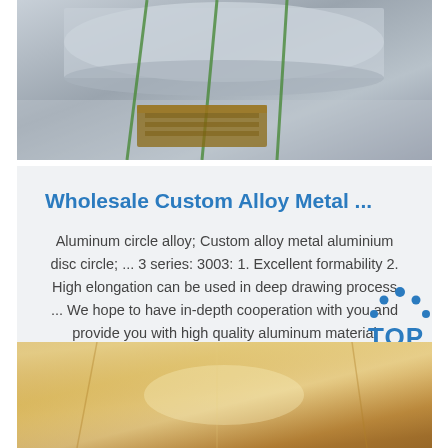[Figure (photo): Photo of aluminum rolls/sheets stacked in a warehouse, silver metallic surface with green straps, brown wooden pallet visible]
Wholesale Custom Alloy Metal ...
Aluminum circle alloy; Custom alloy metal aluminium disc circle; ... 3 series: 3003: 1. Excellent formability 2. High elongation can be used in deep drawing process ... We hope to have in-depth cooperation with you and provide you with high quality aluminum material products custom OEM services. If ...
Get Price
[Figure (logo): TOP logo with blue dots arranged in arc and blue text 'TOP']
[Figure (photo): Photo of aluminum metal sheets with golden/bronze warm-toned surface under lighting]